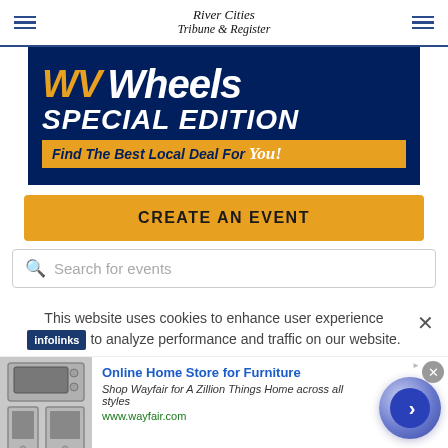River Cities Tribune & Register
[Figure (advertisement): WV Wheels Special Edition - Find The Best Local Deal For You! advertisement banner with navy blue background, gold and white text]
CREATE AN EVENT
Search for events
This website uses cookies to enhance user experience to analyze performance and traffic on our website.
[Figure (advertisement): Online Home Store for Furniture - Shop Wayfair for A Zillion Things Home across all styles. www.wayfair.com. Infolinks ad with appliance thumbnail image and blue circle arrow button.]